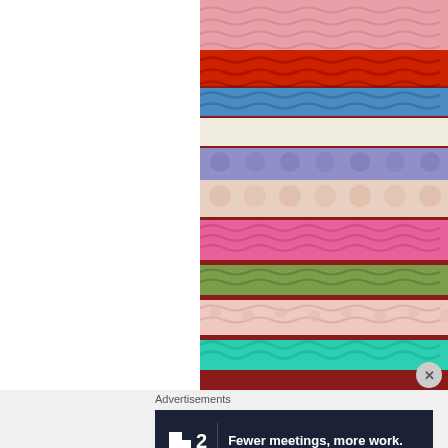[Figure (photo): Close-up photograph of colorful crocheted fabric showing multiple horizontal stripes in pink, red, blue, cream, purple, peach, hot pink, olive green, light pink, and teal/turquoise yarn with textured crochet stitches]
Advertisements
[Figure (screenshot): Advertisement banner with dark navy background showing Plan logo (square bracket shape with number 2) and text 'Fewer meetings, more work.']